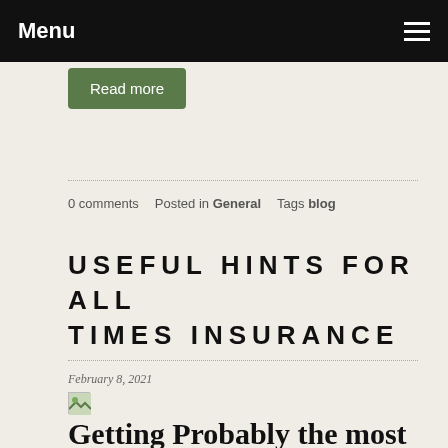Menu
Read more
0 comments   Posted in General   Tags blog
USEFUL HINTS FOR ALL TIMES INSURANCE
February 8, 2021
Getting Probably the most For your Insurance Casebook